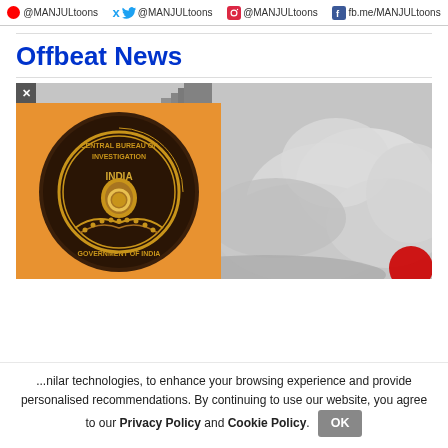[Figure (other): Social media handles bar: @MANJULtoons on Periscope, Twitter, Instagram, and Facebook (fb.me/MANJULtoons)]
Offbeat News
[Figure (photo): Main image showing a building being demolished with large smoke/dust clouds. An overlay popup shows the CBI (Central Bureau of Investigation) India badge on an orange background with an X close button.]
...nilar technologies, to enhance your browsing experience and provide personalised recommendations. By continuing to use our website, you agree to our Privacy Policy and Cookie Policy.